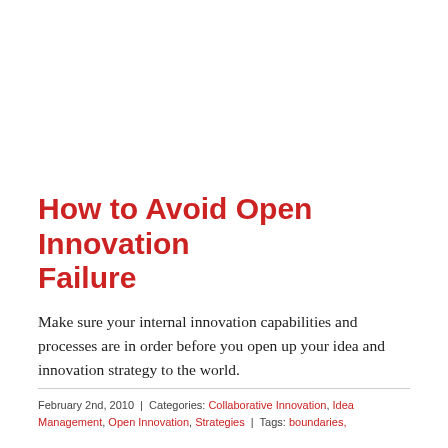How to Avoid Open Innovation Failure
Make sure your internal innovation capabilities and processes are in order before you open up your idea and innovation strategy to the world.
February 2nd, 2010  |  Categories: Collaborative Innovation, Idea Management, Open Innovation, Strategies  |  Tags: boundaries,